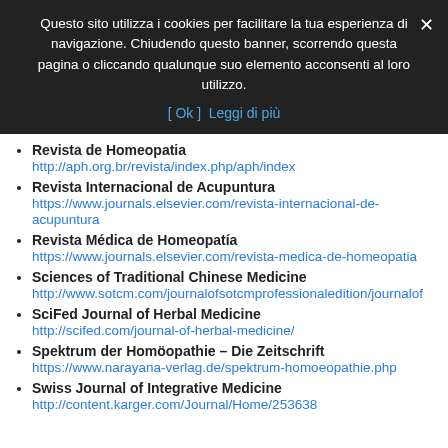Questo sito utilizza i cookies per facilitare la tua esperienza di navigazione. Chiudendo questo banner, scorrendo questa pagina o cliccando qualunque suo elemento acconsenti al loro utilizzo.
[ Ok ]  Leggi di più
Revista de Homeopatia
http://aph.org.br/revista/index.php/aph/index
Revista Internacional de Acupuntura
https://www.journals.elsevier.com/revista-internacional-de-acupuntura
Revista Médica de Homeopatía
https://www.journals.elsevier.com/revista-medica-de-homeopatia
Sciences of Traditional Chinese Medicine
http://www.sotcm.com/journalofsotcmprofessionaledition/journalof
SciFed Journal of Herbal Medicine
http://scifed.com/journal-of-herbal-medicine/
Spektrum der Homöopathie – Die Zeitschrift
https://www.narayana-verlag.de/spektrum-homoeopathie.php
Swiss Journal of Integrative Medicine
http://content.karger.com/Journal/Home/253638